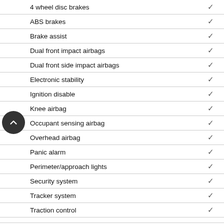| Feature | Standard |
| --- | --- |
| 4 wheel disc brakes | ✓ |
| ABS brakes | ✓ |
| Brake assist | ✓ |
| Dual front impact airbags | ✓ |
| Dual front side impact airbags | ✓ |
| Electronic stability | ✓ |
| Ignition disable | ✓ |
| Knee airbag | ✓ |
| Occupant sensing airbag | ✓ |
| Overhead airbag | ✓ |
| Panic alarm | ✓ |
| Perimeter/approach lights | ✓ |
| Security system | ✓ |
| Tracker system | ✓ |
| Traction control | ✓ |
| Seats and Trim | Standard |
| Front centre armrest | ✓ |